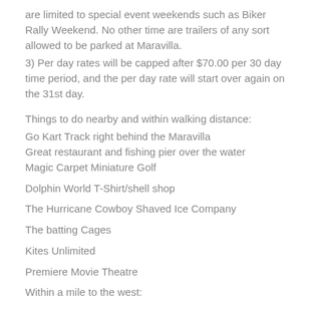are limited to special event weekends such as Biker Rally Weekend. No other time are trailers of any sort allowed to be parked at Maravilla.
3) Per day rates will be capped after $70.00 per 30 day time period, and the per day rate will start over again on the 31st day.
Things to do nearby and within walking distance:
Go Kart Track right behind the Maravilla
Great restaurant and fishing pier over the water
Magic Carpet Miniature Golf
Dolphin World T-Shirt/shell shop
The Hurricane Cowboy Shaved Ice Company
The batting Cages
Kites Unlimited
Premiere Movie Theatre
Within a mile to the west: